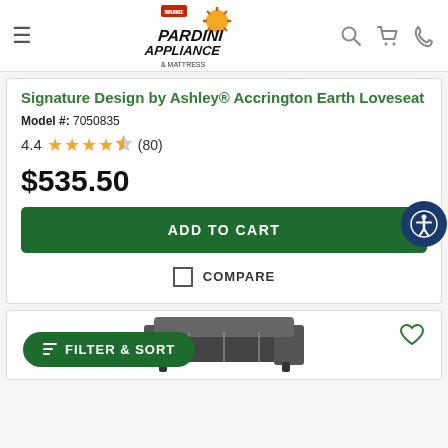Pardini Appliance & Mattress - navigation header
Signature Design by Ashley® Accrington Earth Loveseat
Model #: 7050835
4.4 (80)
$535.50
ADD TO CART
COMPARE
[Figure (screenshot): Partial view of a second product card with a heart/wishlist icon and a partial sofa image at the bottom]